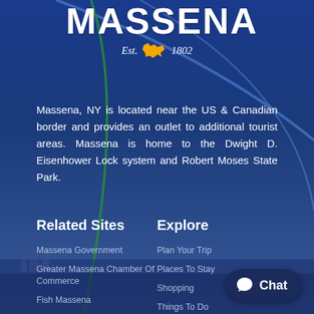[Figure (logo): Massena NY town logo with text MASSENA, Est. 1802, and New York state shape in gold]
Massena, NY is located near the US & Canadian border and provides an outlet to additional tourist areas. Massena is home to the Dwight D. Eisenhower Lock system and Robert Moses State Park.
Related Sites
Massena Government
Greater Massena Chamber Of Commerce
Fish Massena
Fly Massena
Film Massena
Massena Public Library
Explore
Plan Your Trip
Places To Stay
Shopping
Things To Do
Events